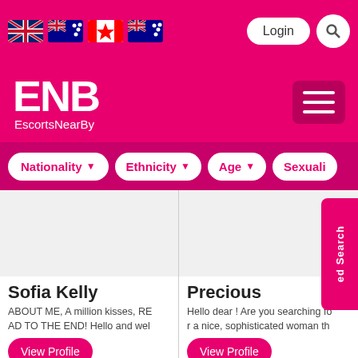EscortsNearBy - ENB
[Figure (screenshot): Website header with flag icons (UK, Australia, Canada, Australia), Login button, and search icon on pink background]
[Figure (logo): ENB EscortsNearBy logo in white on pink background with hamburger menu]
Nationality | Ethnicity | Age | Sexuality
Sofia Kelly
ABOUT ME, A million kisses, READ TO THE END! Hello and wel
View Profile
City: Bedok
IN Call : Out Call   5
Precious
Hello dear ! Are you searching for a nice, sophisticated woman th
View Profile
City: Changi
IN Call : Out Call   5